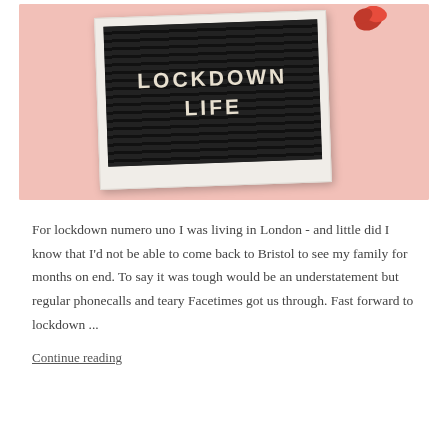[Figure (photo): A polaroid-style photo on a pink background showing a black letterboard with white text reading 'LOCKDOWN LIFE', decorated with orange and red flowers.]
For lockdown numero uno I was living in London - and little did I know that I'd not be able to come back to Bristol to see my family for months on end. To say it was tough would be an understatement but regular phonecalls and teary Facetimes got us through. Fast forward to lockdown ...
Continue reading